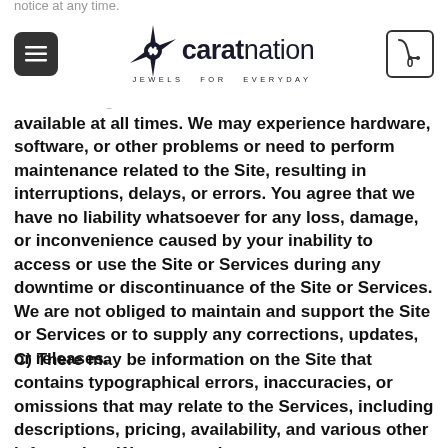caratnation — JEWELS FOR EVERYDAY
notice at any time. We cannot guarantee that the Services will be available at all times. We may experience hardware, software, or other problems or need to perform maintenance related to the Site, resulting in interruptions, delays, or errors. You agree that we have no liability whatsoever for any loss, damage, or inconvenience caused by your inability to access or use the Site or Services during any downtime or discontinuance of the Site or Services. We are not obliged to maintain and support the Site or Services or to supply any corrections, updates, or releases.
C) There may be information on the Site that contains typographical errors, inaccuracies, or omissions that may relate to the Services, including descriptions, pricing, availability, and various other information. We reserve the right to correct any errors, inaccuracies, or omissions and to change or update the information on the Site at any time, without prior notice.